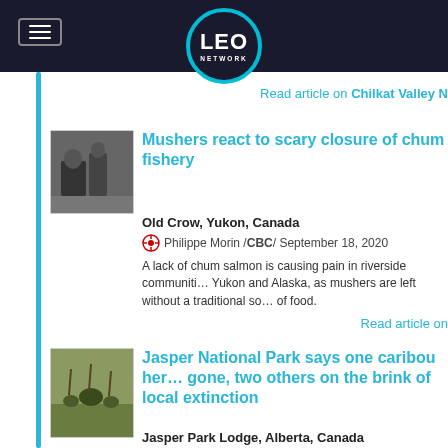LEO NETWORK
Read article on Chilkat Valley N
Mushers react to scary closure of chum fishery
Old Crow, Yukon, Canada
Philippe Morin / CBC / September 18, 2020
A lack of chum salmon is causing pain in riverside communities in Yukon and Alaska, as mushers are left without a traditional source of food.
Read article on
Jasper National Park says one caribou herd gone, two others on the brink of local extinction
Jasper Park Lodge, Alberta, Canada